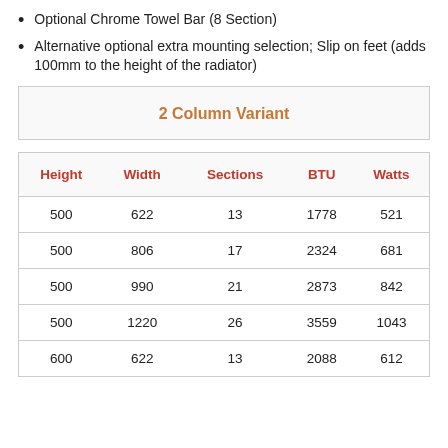Optional Chrome Towel Bar (8 Section)
Alternative optional extra mounting selection; Slip on feet (adds 100mm to the height of the radiator)
| 2 Column Variant |
| --- |
| Height | Width | Sections | BTU | Watts |
| --- | --- | --- | --- | --- |
| 500 | 622 | 13 | 1778 | 521 |
| 500 | 806 | 17 | 2324 | 681 |
| 500 | 990 | 21 | 2873 | 842 |
| 500 | 1220 | 26 | 3559 | 1043 |
| 600 | 622 | 13 | 2088 | 612 |